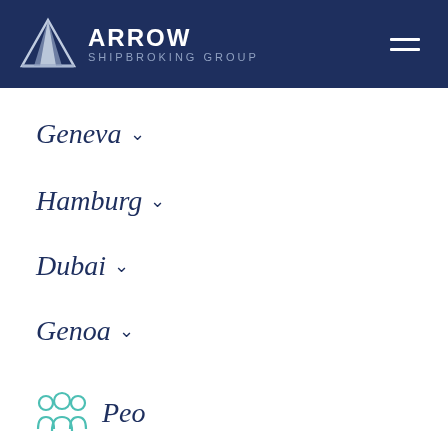ARROW SHIPBROKING GROUP
Geneva
Hamburg
Dubai
Genoa
People
Cookies
This website uses cookies to improve your experience. Read more.
I understand.